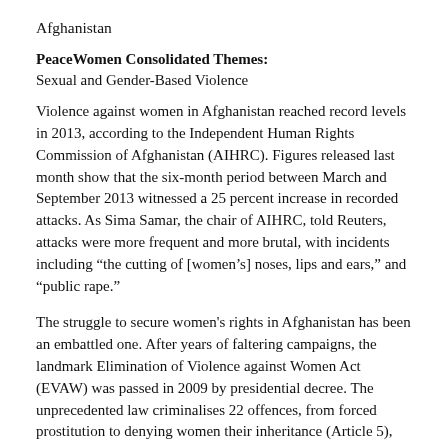Afghanistan
PeaceWomen Consolidated Themes:
Sexual and Gender-Based Violence
Violence against women in Afghanistan reached record levels in 2013, according to the Independent Human Rights Commission of Afghanistan (AIHRC). Figures released last month show that the six-month period between March and September 2013 witnessed a 25 percent increase in recorded attacks. As Sima Samar, the chair of AIHRC, told Reuters, attacks were more frequent and more brutal, with incidents including “the cutting of [women’s] noses, lips and ears,” and “public rape.”
The struggle to secure women's rights in Afghanistan has been an embattled one. After years of faltering campaigns, the landmark Elimination of Violence against Women Act (EVAW) was passed in 2009 by presidential decree. The unprecedented law criminalises 22 offences, from forced prostitution to denying women their inheritance (Article 5),